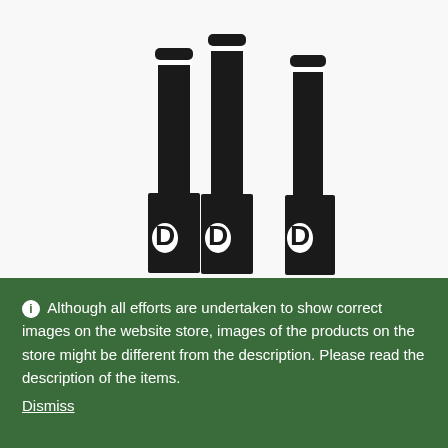[Figure (photo): Three black cricket bats with white logo markings shown vertically against a white background, handles visible at top.]
Although all efforts are undertaken to show correct images on the website store, images of the products on the store might be different from the description. Please read the description of the items.
Dismiss